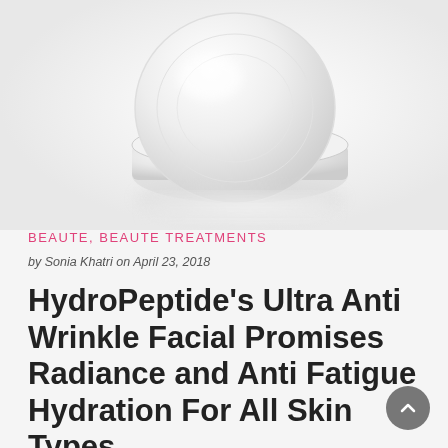[Figure (photo): A white round facial cream jar/container photographed from above at an angle, with a soft reflection below it, against a light gray background.]
BEAUTE, BEAUTE TREATMENTS
by Sonia Khatri on April 23, 2018
HydroPeptide's Ultra Anti Wrinkle Facial Promises Radiance and Anti Fatigue Hydration For All Skin Types